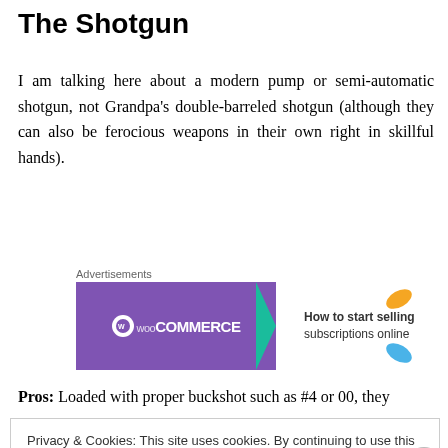The Shotgun
I am talking here about a modern pump or semi-automatic shotgun, not Grandpa's double-barreled shotgun (although they can also be ferocious weapons in their own right in skillful hands).
[Figure (screenshot): WooCommerce advertisement banner: purple background with WooCommerce logo on left, text 'How to start selling subscriptions online' on right with colorful leaf decorations. Labeled 'Advertisements' above.]
Pros: Loaded with proper buckshot such as #4 or 00, they
Privacy & Cookies: This site uses cookies. By continuing to use this website, you agree to their use.
To find out more, including how to control cookies, see here: Cookie Policy
Close and accept